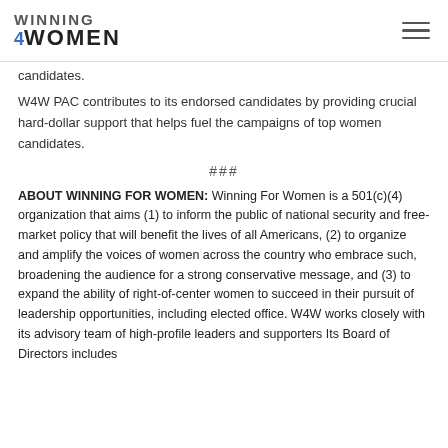WINNING 4WOMEN
candidates.
W4W PAC contributes to its endorsed candidates by providing crucial hard-dollar support that helps fuel the campaigns of top women candidates.
###
ABOUT WINNING FOR WOMEN: Winning For Women is a 501(c)(4) organization that aims (1) to inform the public of national security and free-market policy that will benefit the lives of all Americans, (2) to organize and amplify the voices of women across the country who embrace such, broadening the audience for a strong conservative message, and (3) to expand the ability of right-of-center women to succeed in their pursuit of leadership opportunities, including elected office. W4W works closely with its advisory team of high-profile leaders and supporters Its Board of Directors includes